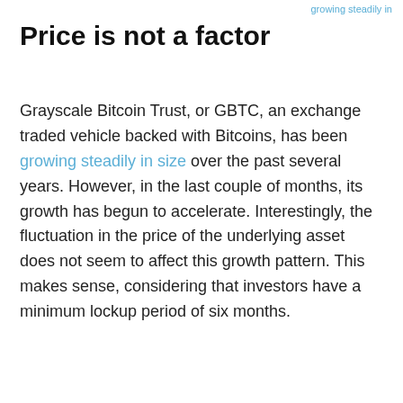growing steadily in size
Price is not a factor
Grayscale Bitcoin Trust, or GBTC, an exchange traded vehicle backed with Bitcoins, has been growing steadily in size over the past several years. However, in the last couple of months, its growth has begun to accelerate. Interestingly, the fluctuation in the price of the underlying asset does not seem to affect this growth pattern. This makes sense, considering that investors have a minimum lockup period of six months.